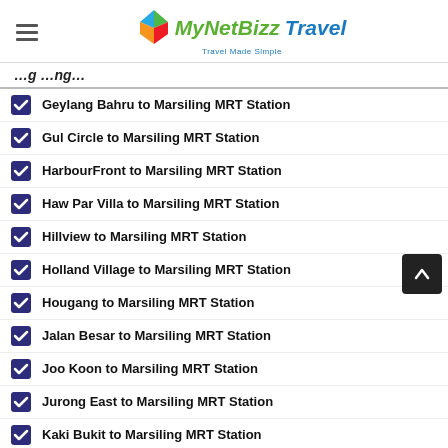MyNetBizz Travel — Travel Made Simple
Geylang Bahru to Marsiling MRT Station
Gul Circle to Marsiling MRT Station
HarbourFront to Marsiling MRT Station
Haw Par Villa to Marsiling MRT Station
Hillview to Marsiling MRT Station
Holland Village to Marsiling MRT Station
Hougang to Marsiling MRT Station
Jalan Besar to Marsiling MRT Station
Joo Koon to Marsiling MRT Station
Jurong East to Marsiling MRT Station
Kaki Bukit to Marsiling MRT Station